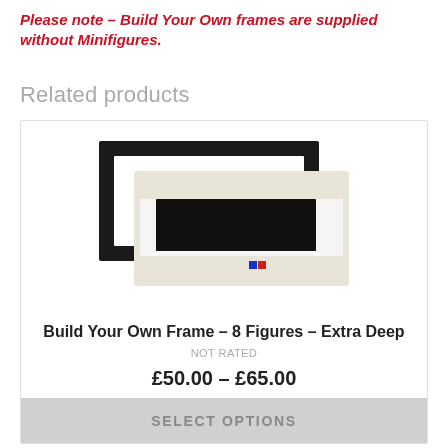Please note – Build Your Own frames are supplied without Minifigures.
Related products
[Figure (photo): Two Minifigure display frames: a black open-backed frame behind a white and gold deep frame with a dark rectangular window cutout and small blue/red logo on the front]
Build Your Own Frame – 8 Figures – Extra Deep
NOT RATED
£50.00 – £65.00
SELECT OPTIONS